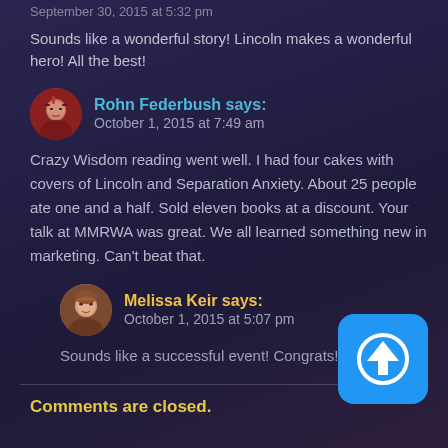September 30, 2015 at 5:32 pm
Sounds like a wonderful story! Lincoln makes a wonderful hero! All the best!
Rohn Federbush says:
October 1, 2015 at 7:49 am
Crazy Wisdom reading went well. I had four cakes with covers of Lincoln and Separation Anxiety. About 25 people ate one and a half. Sold eleven books at a discount. Your talk at MMRWA was great. We all learned something new in marketing. Can't beat that.
Melissa Keir says:
October 1, 2015 at 5:07 pm
Sounds like a successful event! Congrats!
Comments are closed.